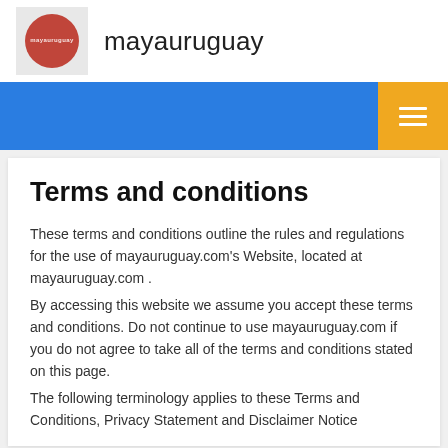mayauruguay
Terms and conditions
These terms and conditions outline the rules and regulations for the use of mayauruguay.com's Website, located at mayauruguay.com .
By accessing this website we assume you accept these terms and conditions. Do not continue to use mayauruguay.com if you do not agree to take all of the terms and conditions stated on this page.
The following terminology applies to these Terms and Conditions, Privacy Statement and Disclaimer Notice